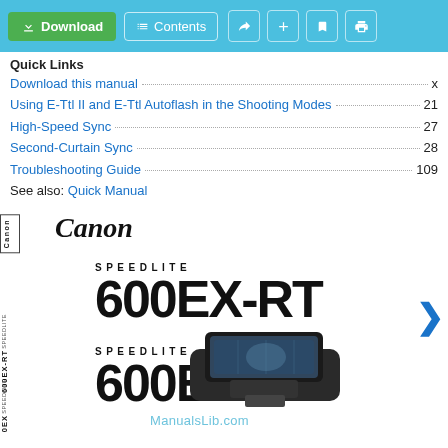Download | Contents
Quick Links
Download this manual ... x
Using E-Ttl II and E-Ttl Autoflash in the Shooting Modes ... 21
High-Speed Sync ... 27
Second-Curtain Sync ... 28
Troubleshooting Guide ... 109
See also: Quick Manual
[Figure (photo): Canon Speedlite 600EX-RT and 600EX product manual cover showing camera flash unit with Canon branding and model names]